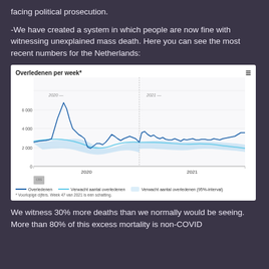facing political prosecution.
-We have created a system in which people are now fine with witnessing unexplained mass death. Here you can see the most recent numbers for the Netherlands:
[Figure (continuous-plot): Line chart showing deaths per week in the Netherlands for 2020 and 2021. A dark blue jagged line shows actual deaths (Overledenen), a light blue smooth line shows expected deaths (Verwacht aantal overledenen), and a light blue shaded band shows the 95% interval. There is a large spike around spring 2020 reaching ~5000, and rising trend in late 2021 reaching ~4000. X-axis shows 2020 and 2021. Y-axis ranges from 0 to 6000.]
We witness 30% more deaths than we normally would be seeing. More than 80% of this excess mortality is non-COVID